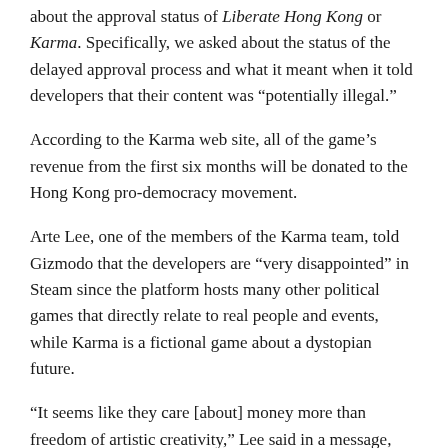about the approval status of Liberate Hong Kong or Karma. Specifically, we asked about the status of the delayed approval process and what it meant when it told developers that their content was “potentially illegal.”
According to the Karma web site, all of the game’s revenue from the first six months will be donated to the Hong Kong pro-democracy movement.
Arte Lee, one of the members of the Karma team, told Gizmodo that the developers are “very disappointed” in Steam since the platform hosts many other political games that directly relate to real people and events, while Karma is a fictional game about a dystopian future.
“It seems like they care [about] money more than freedom of artistic creativity,” Lee said in a message, punctuated with a sad-face emoji.
More From Kotaku Australia